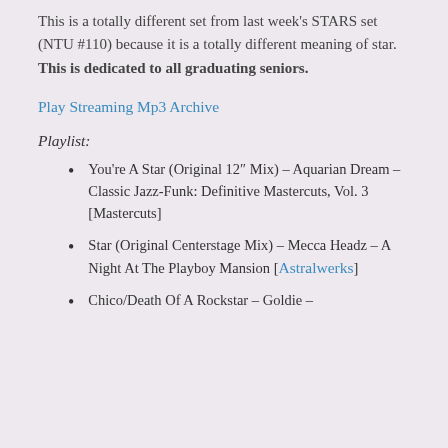This is a totally different set from last week's STARS set (NTU #110) because it is a totally different meaning of star. This is dedicated to all graduating seniors.
Play Streaming Mp3 Archive
Playlist:
You're A Star (Original 12″ Mix) – Aquarian Dream – Classic Jazz-Funk: Definitive Mastercuts, Vol. 3 [Mastercuts]
Star (Original Centerstage Mix) – Mecca Headz – A Night At The Playboy Mansion [Astralwerks]
Chico/Death Of A Rockstar – Goldie –